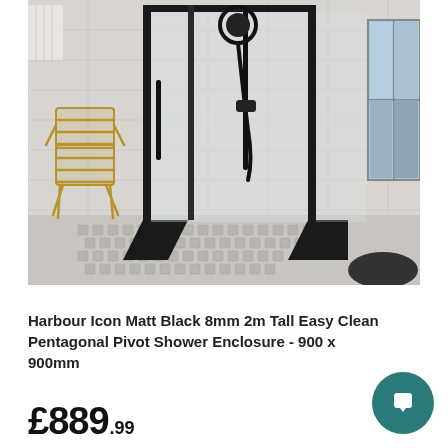[Figure (photo): Product photo of a Harbour Icon Matt Black pentagonal pivot shower enclosure with black metal frame and clear glass panels, a gold wire chair visible to the left, black and white hexagonal tile floor, bathroom setting with light grey wall tiles and a window to the right.]
Harbour Icon Matt Black 8mm 2m Tall Easy Clean Pentagonal Pivot Shower Enclosure - 900 x 900mm
£889.99